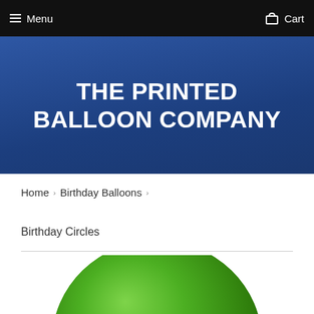Menu   Cart
THE PRINTED BALLOON COMPANY
Home > Birthday Balloons >
Birthday Circles
[Figure (photo): Green circular balloon, partially visible, cropped at the bottom of the page]